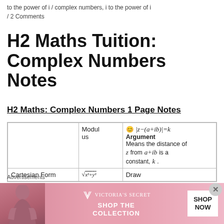to the power of i / complex numbers, i to the power of i / 2 Comments
H2 Maths Tuition: Complex Numbers Notes
H2 Maths: Complex Numbers 1 Page Notes
|  | Modulus | Argument |
| --- | --- | --- |
|  | Modulus | 😊  |z−(a+ib)|=k
Argument
Means the distance of z from a+ib is a constant, k. |
| Cartesian Form | √(x²+y²) | Draw |
Advertisements
[Figure (photo): Victoria's Secret advertisement banner with woman photo, VS logo, 'SHOP THE COLLECTION', and 'SHOP NOW' button]